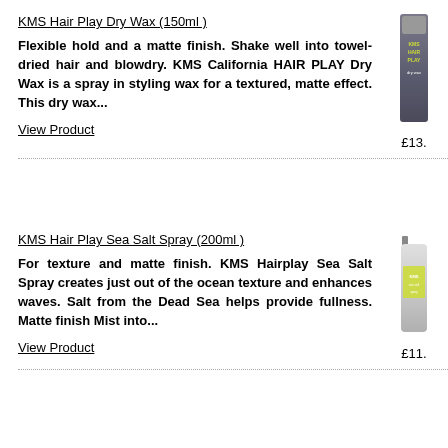KMS Hair Play Dry Wax (150ml )
Flexible hold and a matte finish. Shake well into towel-dried hair and blowdry. KMS California HAIR PLAY Dry Wax is a spray in styling wax for a textured, matte effect. This dry wax...
View Product
[Figure (photo): KMS Hair Play Dry Wax product bottle, dark grey/purple aerosol can]
£13.
KMS Hair Play Sea Salt Spray (200ml )
For texture and matte finish. KMS Hairplay Sea Salt Spray creates just out of the ocean texture and enhances waves. Salt from the Dead Sea helps provide fullness. Matte finish Mist into...
View Product
[Figure (photo): KMS Hair Play Sea Salt Spray product bottle, clear/white spray bottle with yellow label]
£11.